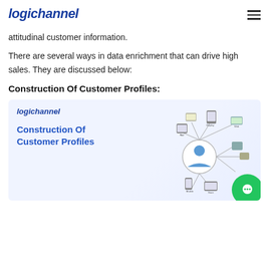logichannel
attitudinal customer information.
There are several ways in data enrichment that can drive high sales. They are discussed below:
Construction Of Customer Profiles:
[Figure (illustration): logichannel branded infographic showing 'Construction Of Customer Profiles' with a central customer service agent icon surrounded by device/app icons connected by lines, on a light blue-grey gradient background.]